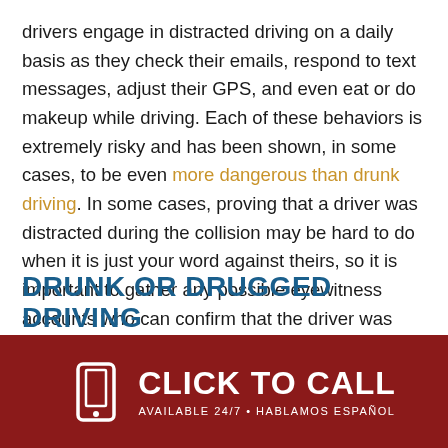drivers engage in distracted driving on a daily basis as they check their emails, respond to text messages, adjust their GPS, and even eat or do makeup while driving. Each of these behaviors is extremely risky and has been shown, in some cases, to be even more dangerous than drunk driving. In some cases, proving that a driver was distracted during the collision may be hard to do when it is just your word against theirs, so it is important to gather any possible eyewitness accounts who can confirm that the driver was engaging in risky behavior while driving.
DRUNK OR DRUGGED DRIVING
[Figure (infographic): Dark red banner with a white smartphone icon on the left, large white bold text 'CLICK TO CALL' in the center, and smaller white uppercase text 'AVAILABLE 24/7 • HABLAMOS ESPAÑOL' below it.]